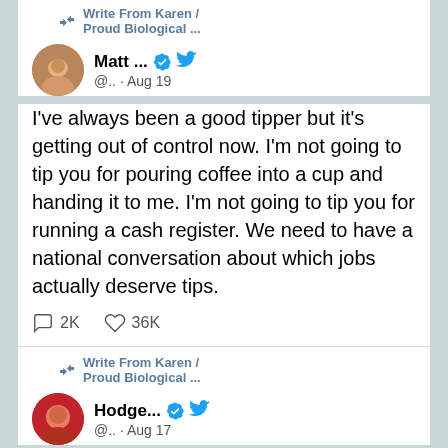Write From Karen / Proud Biological ...
Matt ... @.. · Aug 19
I've always been a good tipper but it's getting out of control now. I'm not going to tip you for pouring coffee into a cup and handing it to me. I'm not going to tip you for running a cash register. We need to have a national conversation about which jobs actually deserve tips.
2K  36K
Write From Karen / Proud Biological ...
Hodge... @.. · Aug 17
A big problem in today's